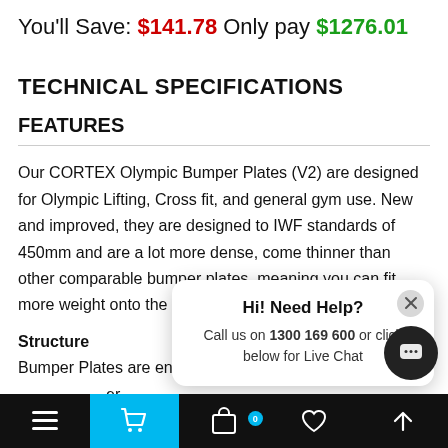You'll Save: $141.78 Only pay $1276.01
TECHNICAL SPECIFICATIONS
FEATURES
Our CORTEX Olympic Bumper Plates (V2) are designed for Olympic Lifting, Cross fit, and general gym use. New and improved, they are designed to IWF standards of 450mm and are a lot more dense, come thinner than other comparable bumper plates, meaning you can fit more weight onto the bar.
Structure
Bumper Plates are engineered for durability...
[Figure (screenshot): Live chat popup overlay with text: Hi! Need Help? Call us on 1300 169 600 or click below for Live Chat. Has a close (X) button and a dark chat bubble icon button.]
Bottom navigation bar with menu, cart (active/blue), bag with 0 badge, heart, and up-arrow icons.